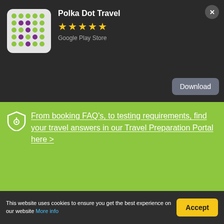[Figure (screenshot): App banner for Polka Dot Travel showing app icon with green and purple polka dots on grey background, five gold stars, Google Play Store label, Download button, and close X button]
Polka Dot Travel
★★★★★
Google Play Store
Download
From booking FAQ's, to testing requirements, find your travel answers in our Travel Preparation Portal here >
[Figure (logo): Polka Dot Travel logo with green and purple dot grid and wordmark POLKA DOT TRAVEL]
Menu
Call Us
Cracking Krakow
✏ Author: Amy Bennett
This website uses cookies to ensure you get the best experience on our website More info
Accept